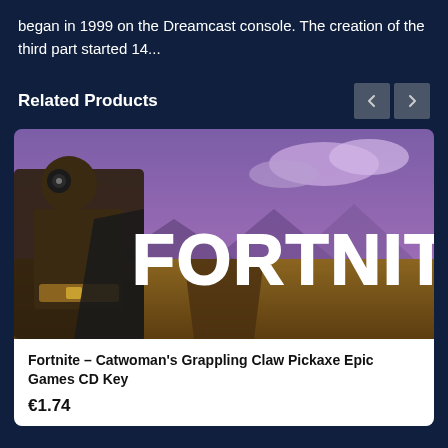began in 1999 on the Dreamcast console. The creation of the third part started 14…
Related Products
[Figure (screenshot): Fortnite game promotional image showing a warrior character with armor against a purple sky background, with large white FORTNITE text overlay]
Fortnite – Catwoman's Grappling Claw Pickaxe Epic Games CD Key
€1.74